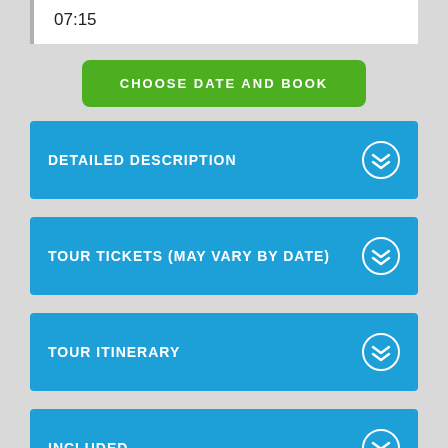07:15
CHOOSE DATE AND BOOK
DETAILED DESCRIPTION
TOUR TICKETS (MAY VARY BY DATE)
TOUR ITINERARY
INCLUDED